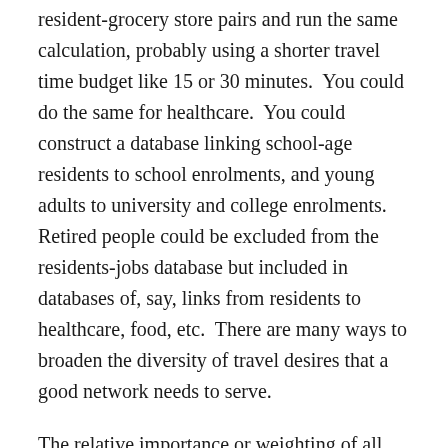resident-grocery store pairs and run the same calculation, probably using a shorter travel time budget like 15 or 30 minutes.  You could do the same for healthcare.  You could construct a database linking school-age residents to school enrolments, and young adults to university and college enrolments.  Retired people could be excluded from the residents-jobs database but included in databases of, say, links from residents to healthcare, food, etc.  There are many ways to broaden the diversity of travel desires that a good network needs to serve.
The relative importance or weighting of all these measures would need more debating, possibly based on the size of each market in the region’s travel patterns with some bonus weighting for equity.